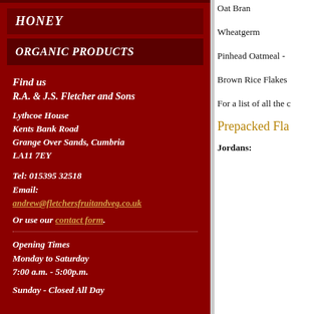HONEY
ORGANIC PRODUCTS
Find us
R.A. & J.S. Fletcher and Sons
Lythcoe House
Kents Bank Road
Grange Over Sands, Cumbria
LA11 7EY
Tel: 015395 32518
Email:
andrew@fletchersfruitandveg.co.uk
Or use our contact form.
Opening Times
Monday to Saturday
7:00 a.m. - 5:00p.m.
Sunday - Closed All Day
Oat Bran
Wheatgerm
Pinhead Oatmeal -
Brown Rice Flakes
For a list of all the c
Prepacked Fla
Jordans: